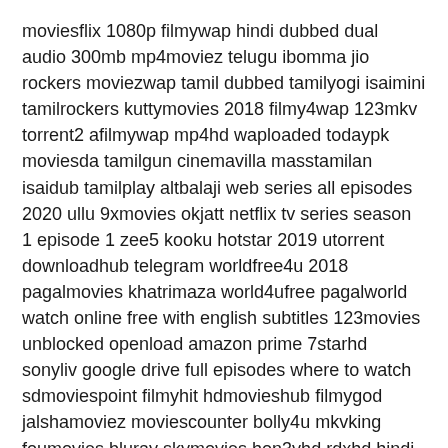moviesflix 1080p filmywap hindi dubbed dual audio 300mb mp4moviez telugu ibomma jio rockers moviezwap tamil dubbed tamilyogi isaimini tamilrockers kuttymovies 2018 filmy4wap 123mkv torrent2 afilmywap mp4hd waploaded todaypk moviesda tamilgun cinemavilla masstamilan isaidub tamilplay altbalaji web series all episodes 2020 ullu 9xmovies okjatt netflix tv series season 1 episode 1 zee5 kooku hotstar 2019 utorrent downloadhub telegram worldfree4u 2018 pagalmovies khatrimaza world4ufree pagalworld watch online free with english subtitles 123movies unblocked openload amazon prime 7starhd sonyliv google drive full episodes where to watch sdmoviespoint filmyhit hdmovieshub filmygod jalshamoviez moviescounter bolly4u mkvking foumovies bluray skymovies hon3yhd rdxhd hindi mai madrasrockers masstamilan tamilblasters extramovies eng sub gomovies for mobile katmoviehd direct link. Movie download hdpopcorn torrent bluray yify brrip putlockers dailymotion.
Interceptor 2022 full movie download movierulz 480p filmyzilla vegamovies 720p moviesflix 1080p movieverse tamilyogi 2022 tamil